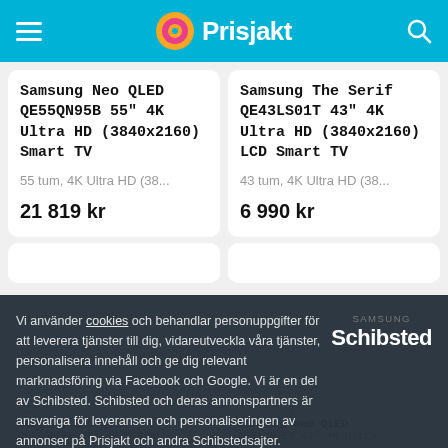Prisjakt
Samsung Neo QLED QE55QN95B 55" 4K Ultra HD (3840x2160) Smart TV
55 tum, 4K Ultra HD (38...
21 819 kr
Samsung The Serif QE43LS01T 43" 4K Ultra HD (3840x2160) LCD Smart TV
43 tum, 4K Ultra HD (38...
6 990 kr
Vi använder cookies och behandlar personuppgifter för att leverera tjänster till dig, vidareutveckla våra tjänster, personalisera innehåll och ge dig relevant marknadsföring via Facebook och Google. Vi är en del av Schibsted. Schibsted och deras annonspartners är ansvariga för leveransen och personaliseringen av annonser på Prisjakt och andra Schibstedsajter.
Acceptera
Mina val
Samsung Neo QLED
QE55QN95B 65" 4K Ultra ... QE55QN95B 43" 4K Ultra ...